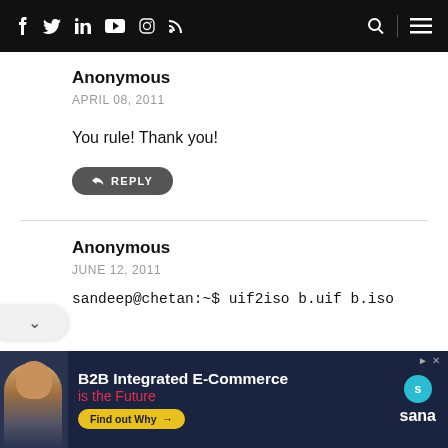Navigation bar with social icons (Facebook, Twitter, LinkedIn, YouTube, Instagram, RSS) and search/menu icons
Anonymous
APRIL 08, 2011

You rule! Thank you!
↩ REPLY
Anonymous
JUNE 12, 2011

sandeep@chetan:~$ uif2iso b.uif b.iso
[Figure (infographic): Advertisement banner for Sana B2B Integrated E-Commerce with a smiling man photo on the left, headline text 'B2B Integrated E-Commerce is the Future', a Find out Why button, and the Sana logo]
B2B Integrated E-Commerce is the Future — Find out Why → sana